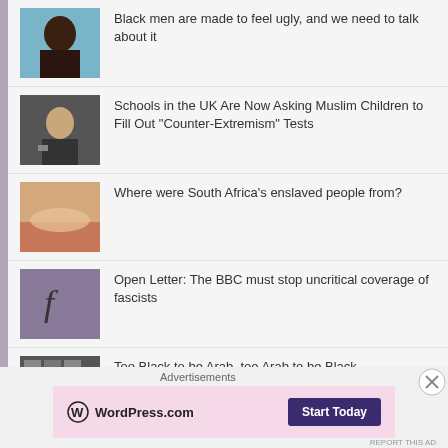Black men are made to feel ugly, and we need to talk about it
Schools in the UK Are Now Asking Muslim Children to Fill Out "Counter-Extremism" Tests
Where were South Africa's enslaved people from?
Open Letter: The BBC must stop uncritical coverage of fascists
Too Black to be Arab, too Arab to be Black
What's the problem with Black Masculinities?
Advertisements
[Figure (logo): WordPress.com logo with Start Today button in pink advertisement box]